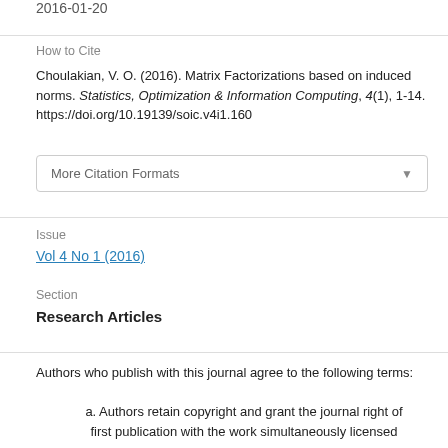2016-01-20
How to Cite
Choulakian, V. O. (2016). Matrix Factorizations based on induced norms. Statistics, Optimization & Information Computing, 4(1), 1-14. https://doi.org/10.19139/soic.v4i1.160
More Citation Formats
Issue
Vol 4 No 1 (2016)
Section
Research Articles
Authors who publish with this journal agree to the following terms:
a. Authors retain copyright and grant the journal right of first publication with the work simultaneously licensed